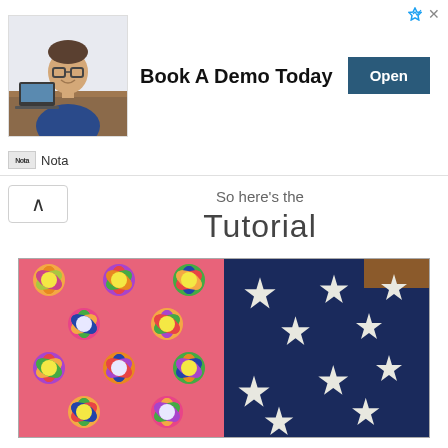[Figure (screenshot): Advertisement banner for 'Nota' showing a man at a desk with glasses, headline 'Book A Demo Today', and an 'Open' button. Sponsored ad indicator in top right.]
So here's the
Tutorial
[Figure (photo): Two pieces of fabric side by side on a wooden table. Left fabric is pink/coral with colorful retro flower pattern. Right fabric is navy blue with white stars pattern.]